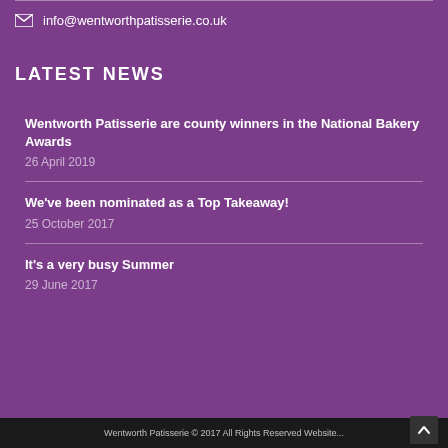info@wentworthpatisserie.co.uk
LATEST NEWS
Wentworth Patisserie are county winners in the National Bakery Awards
26 April 2019
We've been nominated as a Top Takeaway!
25 October 2017
It's a very busy Summer
29 June 2017
Wentworth Patisserie © 2017 All Rights Reserved Website...